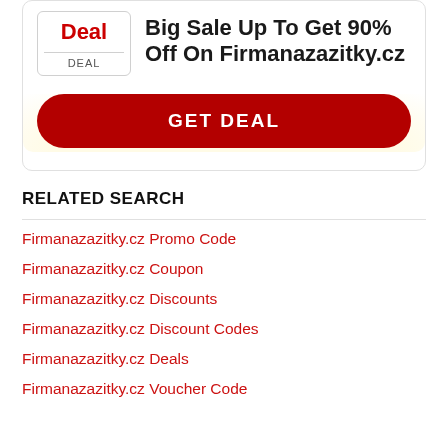Big Sale Up To Get 90% Off On Firmanazazitky.cz
Deal
DEAL
GET DEAL
RELATED SEARCH
Firmanazazitky.cz Promo Code
Firmanazazitky.cz Coupon
Firmanazazitky.cz Discounts
Firmanazazitky.cz Discount Codes
Firmanazazitky.cz Deals
Firmanazazitky.cz Voucher Code